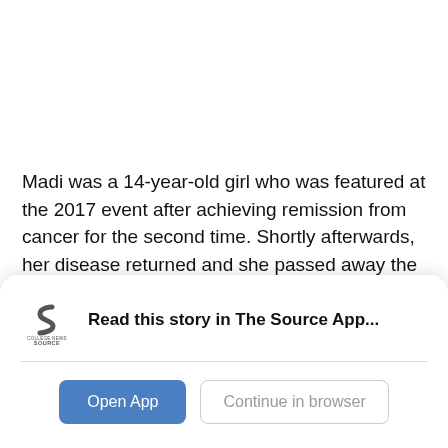Madi was a 14-year-old girl who was featured at the 2017 event after achieving remission from cancer for the second time. Shortly afterwards, her disease returned and she passed away the following October.
“We refer to every kiddo at our event as a miracle kid,
[Figure (logo): College News Source logo — stylized 'S' shape in dark gray with text 'COLLEGE NEWS SOURCE' below]
Read this story in The Source App...
Open App
Continue in browser